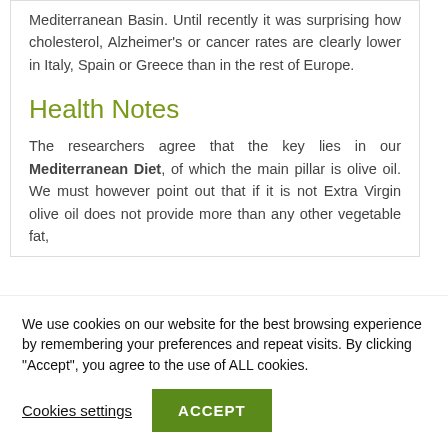Mediterranean Basin. Until recently it was surprising how cholesterol, Alzheimer's or cancer rates are clearly lower in Italy, Spain or Greece than in the rest of Europe.
Health Notes
The researchers agree that the key lies in our Mediterranean Diet, of which the main pillar is olive oil. We must however point out that if it is not Extra Virgin olive oil does not provide more than any other vegetable fat,
We use cookies on our website for the best browsing experience by remembering your preferences and repeat visits. By clicking "Accept", you agree to the use of ALL cookies.